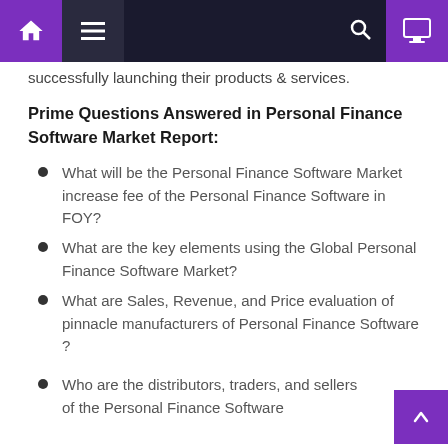Navigation bar with home, menu, search, and monitor icons
successfully launching their products & services.
Prime Questions Answered in Personal Finance Software Market Report:
What will be the Personal Finance Software Market increase fee of the Personal Finance Software in FOY?
What are the key elements using the Global Personal Finance Software Market?
What are Sales, Revenue, and Price evaluation of pinnacle manufacturers of Personal Finance Software ?
Who are the distributors, traders, and sellers of the Personal Finance Software Market?